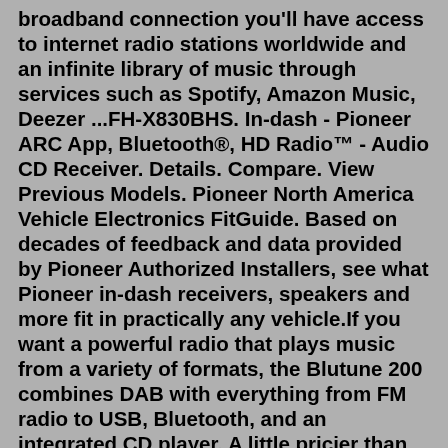broadband connection you'll have access to internet radio stations worldwide and an infinite library of music through services such as Spotify, Amazon Music, Deezer ...FH-X830BHS. In-dash - Pioneer ARC App, Bluetooth®, HD Radio™ - Audio CD Receiver. Details. Compare. View Previous Models. Pioneer North America Vehicle Electronics FitGuide. Based on decades of feedback and data provided by Pioneer Authorized Installers, see what Pioneer in-dash receivers, speakers and more fit in practically any vehicle.If you want a powerful radio that plays music from a variety of formats, the Blutune 200 combines DAB with everything from FM radio to USB, Bluetooth, and an integrated CD player. A little pricier than some of the other DAB radio with USB input options on the market, the Blutune 200 costs around £230 and comes with features like:Delivering a wide range of local FM & DAB radio plus Bluetooth, you'll be spoiled for choice with sports commentary, political news, chat shows, and podcasts across the airwaves. Features. Bluetooth